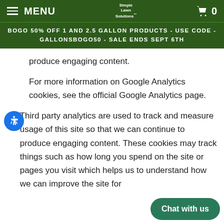MENU | Simple Lawn Solutions | 0
BOGO 50% OFF 1 AND 2.5 GALLON PRODUCTS - USE CODE - GALLONSBOGO50 - SALE ENDS SEPT 6TH
produce engaging content.
For more information on Google Analytics cookies, see the official Google Analytics page.
Third party analytics are used to track and measure usage of this site so that we can continue to produce engaging content. These cookies may track things such as how long you spend on the site or pages you visit which helps us to understand how we can improve the site for